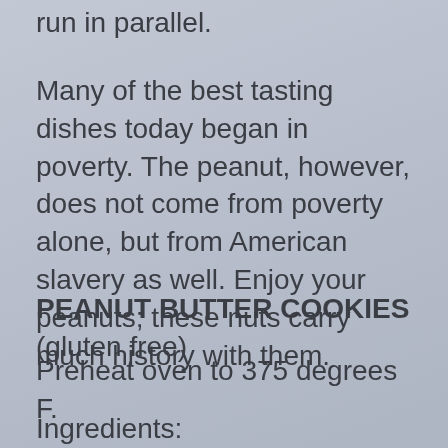run in parallel.
Many of the best tasting dishes today began in poverty. The peanut, however, does not come from poverty alone, but from American slavery as well. Enjoy your peanuts; these nuts carry much history with them.
PEANUT BUTTER COOKIES (gluten free)
Preheat oven to 375 degrees F.
Ingredients: